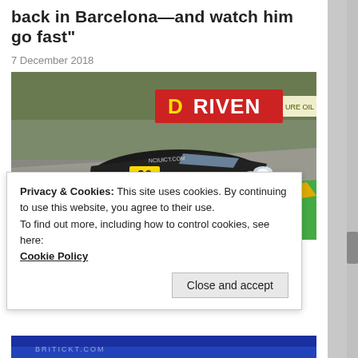back in Barcelona—and watch him go fast"
7 December 2018
[Figure (photo): A dark-colored GT race car with yellow-green accents and number 96 on track, with DRIVEN signage in background, cornering on a racing circuit with colorful curbing]
Privacy & Cookies: This site uses cookies. By continuing to use this website, you agree to their use.
To find out more, including how to control cookies, see here:
Cookie Policy
Close and accept